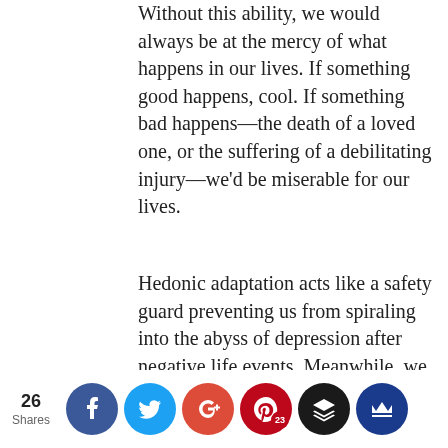Without this ability, we would always be at the mercy of what happens in our lives. If something good happens, cool. If something bad happens—the death of a loved one, or the suffering of a debilitating injury—we'd be miserable for our lives.
Hedonic adaptation acts like a safety guard preventing us from spiraling into the abyss of depression after negative life events. Meanwhile, we can optimize our behavior (which accounts for 40% of our happiness!) and create happiness for ourselves that way. Bingo!
[Figure (infographic): Social share bar showing 26 Shares with icons for Facebook, Twitter, Google+, Pinterest (23), Layers/Buffer, and Crown/Bluehost]